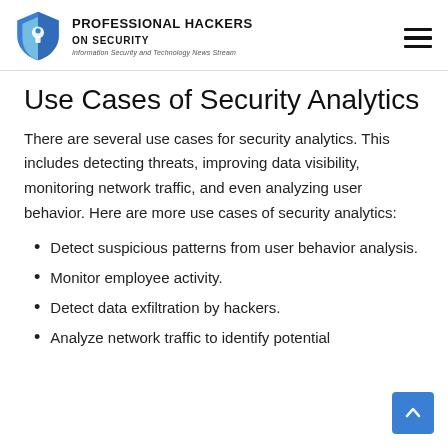Professional Hackers On Security — Information Security and Technology News Stream
Use Cases of Security Analytics
There are several use cases for security analytics. This includes detecting threats, improving data visibility, monitoring network traffic, and even analyzing user behavior. Here are more use cases of security analytics:
Detect suspicious patterns from user behavior analysis.
Monitor employee activity.
Detect data exfiltration by hackers.
Analyze network traffic to identify potential